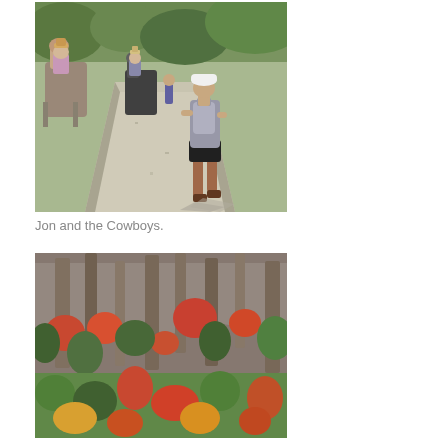[Figure (photo): A runner wearing a white cap and backpack runs down a gravel trail, with two horse riders and another person visible ahead on the trail, surrounded by trees and shrubs.]
Jon and the Cowboys.
[Figure (photo): An aerial or hillside view of a rocky canyon with tall stone cliff faces and trees showing autumn colors (green and red foliage) covering the slopes.]